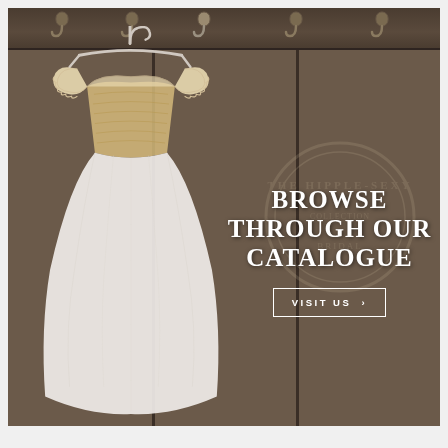[Figure (photo): A white wedding/flower girl dress with gold lace bodice and cap sleeves, hanging on a white hanger against a rustic dark wood plank wall with metal hooks along the top. Overlay text reads 'BROWSE THROUGH OUR CATALOGUE' with a 'VISIT US >' button below. A faint circular stamp watermark is visible on the right side of the wood.]
BROWSE THROUGH OUR CATALOGUE
VISIT US ›